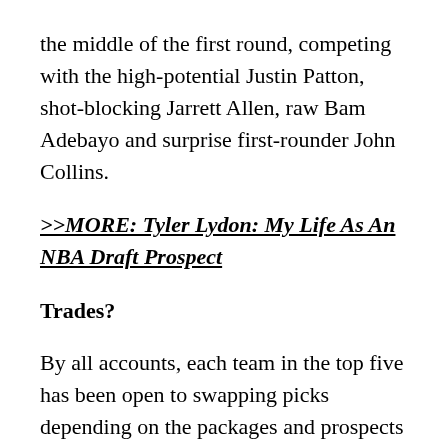the middle of the first round, competing with the high-potential Justin Patton, shot-blocking Jarrett Allen, raw Bam Adebayo and surprise first-rounder John Collins.
>>MORE: Tyler Lydon: My Life As An NBA Draft Prospect
Trades?
By all accounts, each team in the top five has been open to swapping picks depending on the packages and prospects available. The Kings have been vocal about potentially trading both their top-10 picks to move into the top four. The Lakers are still considering trading the second pick for a star player. The Knicks have expressed interest in gaining extra